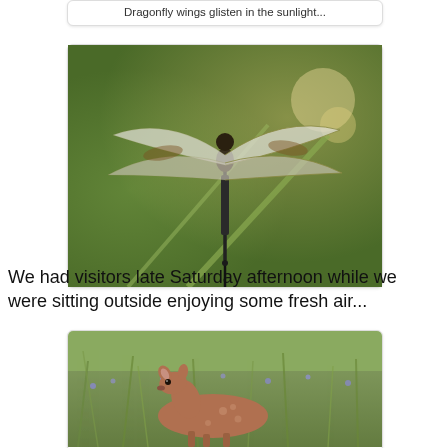Dragonfly wings glisten in the sunlight...
[Figure (photo): A dragonfly perched on a thin vertical stem, wings spread wide showing translucent wings with brown markings, against a blurred green and yellow background]
We had visitors late Saturday afternoon while we were sitting outside enjoying some fresh air...
[Figure (photo): A deer (fawn/doe) resting in tall grass and wildflowers, looking to the side]